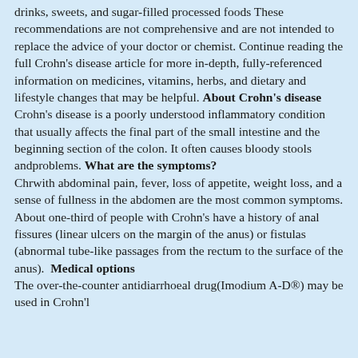drinks, sweets, and sugar-filled processed foods These recommendations are not comprehensive and are not intended to replace the advice of your doctor or chemist. Continue reading the full Crohn's disease article for more in-depth, fully-referenced information on medicines, vitamins, herbs, and dietary and lifestyle changes that may be helpful. About Crohn's disease Crohn's disease is a poorly understood inflammatory condition that usually affects the final part of the small intestine and the beginning section of the colon. It often causes bloody stools andproblems. What are the symptoms? Chrwith abdominal pain, fever, loss of appetite, weight loss, and a sense of fullness in the abdomen are the most common symptoms. About one-third of people with Crohn's have a history of anal fissures (linear ulcers on the margin of the anus) or fistulas (abnormal tube-like passages from the rectum to the surface of the anus). Medical options The over-the-counter antidiarrhoeal drug(Imodium A-D®) may be used in Crohn'l